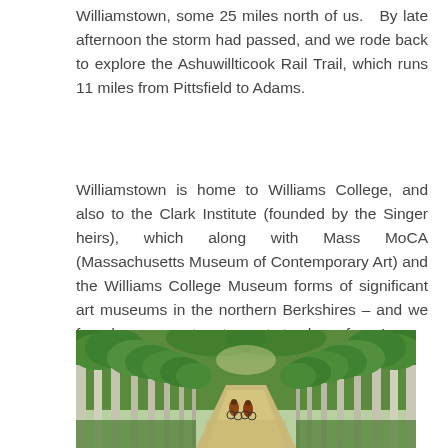Williamstown, some 25 miles north of us.   By late afternoon the storm had passed, and we rode back to explore the Ashuwillticook Rail Trail, which runs 11 miles from Pittsfield to Adams.
Williamstown is home to Williams College, and also to the Clark Institute (founded by the Singer heirs), which along with Mass MoCA (Massachusetts Museum of Contemporary Art) and the Williams College Museum forms of significant art museums in the northern Berkshires – and we found many great restaurants to chose from !
[Figure (photo): Two cyclists riding along a tree-lined trail path through a dense green forest, with tall birch and leafy trees on both sides forming a canopy overhead.]